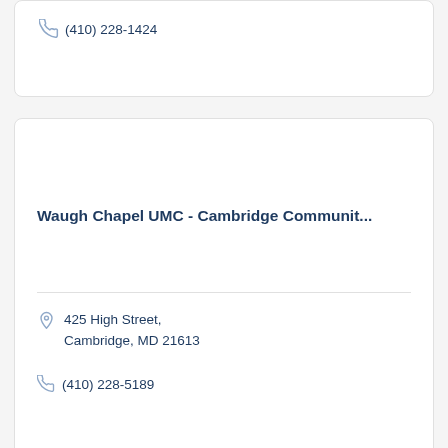(410) 228-1424
Waugh Chapel UMC - Cambridge Communit...
425 High Street, Cambridge, MD 21613
(410) 228-5189